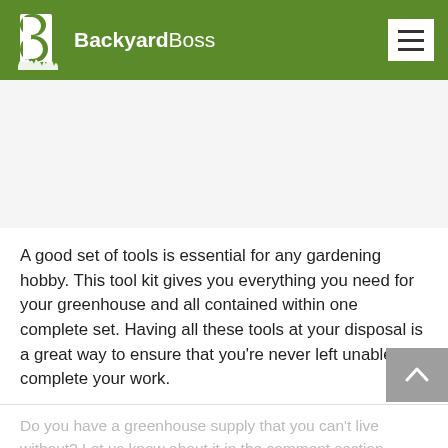BackyardBoss
[Figure (other): Advertisement placeholder area (white/light gray space)]
A good set of tools is essential for any gardening hobby. This tool kit gives you everything you need for your greenhouse and all contained within one complete set. Having all these tools at your disposal is a great way to ensure that you're never left unable to complete your work.
Do you have a greenhouse supply that you can't live without? Let us know about it in the comment section...